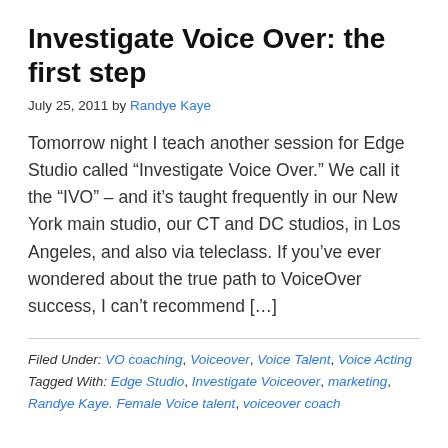Investigate Voice Over: the first step
July 25, 2011 by Randye Kaye
Tomorrow night I teach another session for Edge Studio called “Investigate Voice Over.” We call it the “IVO” – and it’s taught frequently in our New York main studio, our CT and DC studios, in Los Angeles, and also via teleclass. If you’ve ever wondered about the true path to VoiceOver success, I can’t recommend […]
Filed Under: VO coaching, Voiceover, Voice Talent, Voice Acting
Tagged With: Edge Studio, Investigate Voiceover, marketing, Randye Kaye. Female Voice talent, voiceover coach